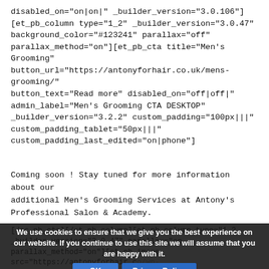disabled_on="on|on|" _builder_version="3.0.106"][et_pb_column type="1_2" _builder_version="3.0.47" background_color="#123241" parallax="off" parallax_method="on"][et_pb_cta title="Men's Grooming" button_url="https://antonyforhair.co.uk/mens-grooming/" button_text="Read more" disabled_on="off|off|" admin_label="Men's Grooming CTA DESKTOP" _builder_version="3.2.2" custom_padding="100px|||" custom_padding_tablet="50px|||" custom_padding_last_edited="on|phone"]
Coming soon ! Stay tuned for more information about our additional Men's Grooming Services at Antony's Professional Salon & Academy.
[/ec_pb_cta][/et_pb_column][et_pb_column type="1_2" _builder_version="3.0.47" parallax="on" parallax_method="on"][et_pb_image src="https://antonyforhair.co/wp-content/uploads/2018/04/male-grooming-header.jpg" admin_label="Male groe..." _builder_version="3.2.2"][/et_pb_image][/et_pb_column]
We use cookies to ensure that we give you the best experience on our website. If you continue to use this site we will assume that you are happy with it. [OK] [Privacy Policy]